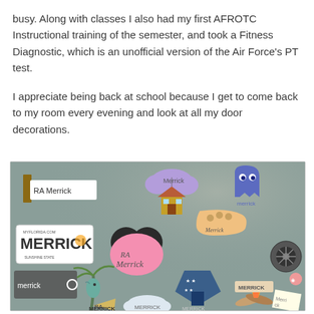busy. Along with classes I also had my first AFROTC Instructional training of the semester, and took a Fitness Diagnostic, which is an unofficial version of the Air Force's PT test.
I appreciate being back at school because I get to come back to my room every evening and look at all my door decorations.
[Figure (photo): A photo of a dorm room door decorated with many name tags and cutouts all reading 'Merrick' or 'RA Merrick' in various styles including a Florida license plate, Pac-Man ghost, Up house, Mickey Mouse ears, a Pac-Man shoe, palm tree, campfire, and other creative decorations on a gray-green door.]